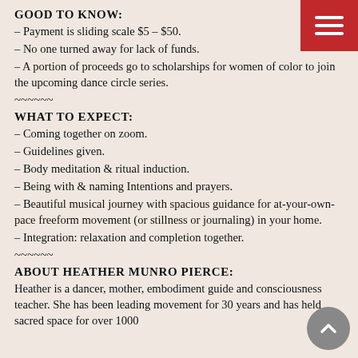GOOD TO KNOW:
– Payment is sliding scale $5 – $50.
– No one turned away for lack of funds.
– A portion of proceeds go to scholarships for women of color to join the upcoming dance circle series.
~~~~~~
WHAT TO EXPECT:
– Coming together on zoom.
– Guidelines given.
– Body meditation & ritual induction.
– Being with & naming Intentions and prayers.
– Beautiful musical journey with spacious guidance for at-your-own-pace freeform movement (or stillness or journaling) in your home.
– Integration: relaxation and completion together.
~~~~~~
ABOUT HEATHER MUNRO PIERCE:
Heather is a dancer, mother, embodiment guide and consciousness teacher. She has been leading movement for 30 years and has held sacred space for over 1000